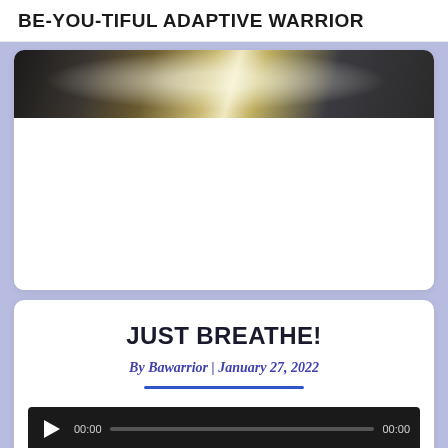BE-YOU-TIFUL ADAPTIVE WARRIOR
[Figure (photo): Partial photo showing a person in white clothing with dark accessories on a table, cropped at top of card]
JUST BREATHE!
By Bawarrior | January 27, 2022
[Figure (other): Audio player with play button, 00:00 timestamp, progress bar, and 00:00 end time on dark background]